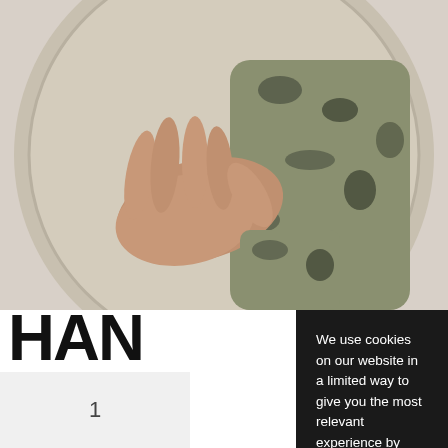[Figure (photo): A person holding out an open hand toward the camera, with a large circular object (cymbal or similar) in background. Person wearing camouflage sleeve.]
HAN
SAN
500
R59.00
1
We use cookies on our website in a limited way to give you the most relevant experience by remembering your preferences and repeat visits. By clicking "Accept All", you consent to the use of ALL the cookies. However, you may visit "Cookie Settings" to provide a controlled consent.
View Website Disclaimer
Cookie Settings
Accept All